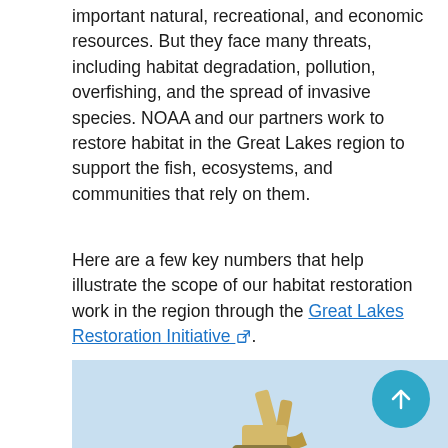important natural, recreational, and economic resources. But they face many threats, including habitat degradation, pollution, overfishing, and the spread of invasive species. NOAA and our partners work to restore habitat in the Great Lakes region to support the fish, ecosystems, and communities that rely on them.
Here are a few key numbers that help illustrate the scope of our habitat restoration work in the region through the Great Lakes Restoration Initiative.
12 years: NOAA has worked through the Great Lakes Restoration Initiative since 2010 to restore habitat across the Great Lakes region. Our story map highlights the first decade of NOAA and partners' work through the Great Lakes Restoration Initiative.
[Figure (photo): Bottom portion of a photo showing construction equipment (excavator) against a light blue sky background, partially cropped at page edge.]